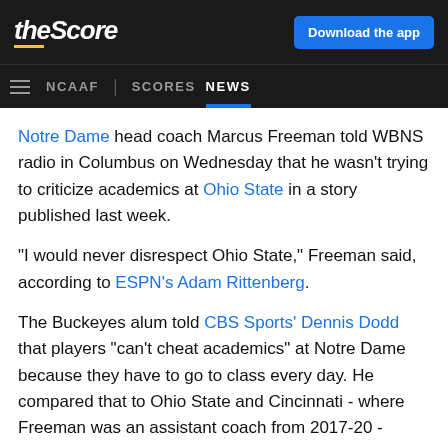theScore | Download the app
NCAAF | SCORES NEWS
Notre Dame head coach Marcus Freeman told WBNS radio in Columbus on Wednesday that he wasn't trying to criticize academics at Ohio State in a story published last week.
"I would never disrespect Ohio State," Freeman said, according to ESPN's Adam Rittenberg.
The Buckeyes alum told CBS Sports' Dennis Dodd that players "can't cheat academics" at Notre Dame because they have to go to class every day. He compared that to Ohio State and Cincinnati - where Freeman was an assistant coach from 2017-20 - saying students at those schools can just take online courses if necessary.